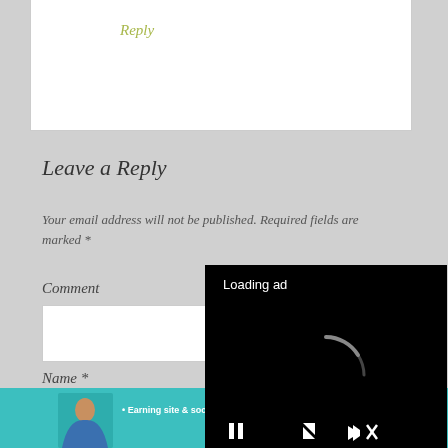Reply
Leave a Reply
Your email address will not be published. Required fields are marked *
Comment
Name *
Email *
[Figure (screenshot): Video ad overlay with 'Loading ad' text, spinning loader icon, and media controls (pause, expand, mute) on black background]
[Figure (infographic): SHE Partner Network banner ad: 'Earning site & social revenue', with woman portrait, SHE logo, and 'LEARN MORE' green button on teal background]